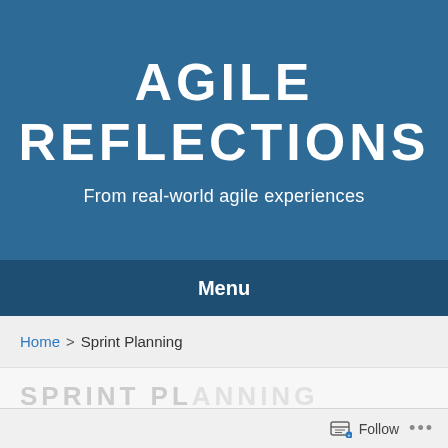AGILE REFLECTIONS
From real-world agile experiences
Menu
Home > Sprint Planning
SPRINT PLANNING